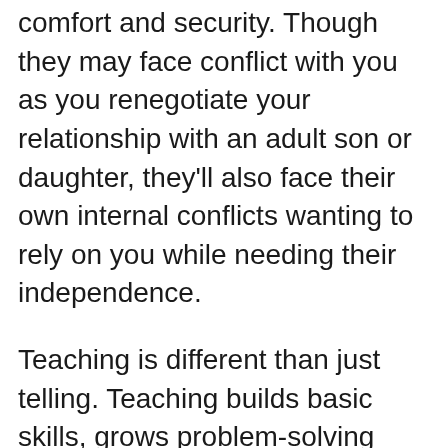comfort and security. Though they may face conflict with you as you renegotiate your relationship with an adult son or daughter, they'll also face their own internal conflicts wanting to rely on you while needing their independence.
Teaching is different than just telling. Teaching builds basic skills, grows problem-solving abilities, and sets your teen up for success. Teaching also involves modeling and practicing the positive behaviors you want to see, promoting skills, and preventing problems. This is also an opportunity to establish meaningful, logical